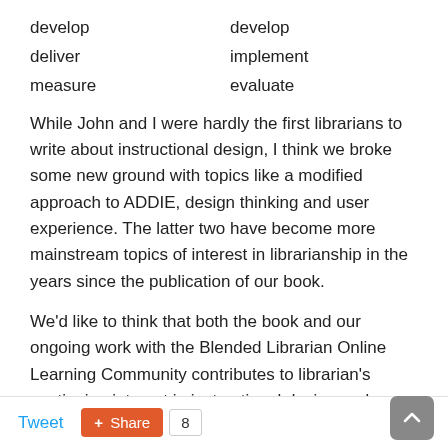develop	develop
deliver	implement
measure	evaluate
While John and I were hardly the first librarians to write about instructional design, I think we broke some new ground with topics like a modified approach to ADDIE, design thinking and user experience. The latter two have become more mainstream topics of interest in librarianship in the years since the publication of our book.
We'd like to think that both the book and our ongoing work with the Blended Librarian Online Learning Community contributes to librarian's continuing interest in instructional design and technology. Even if that's not the case, it's great to see that librarians continue to be interested in the study and exploration of instructional design. I continue to look forward to articles and books from new colleagues that expand our knowledge and keep the conversation going.
Tweet  Share  8